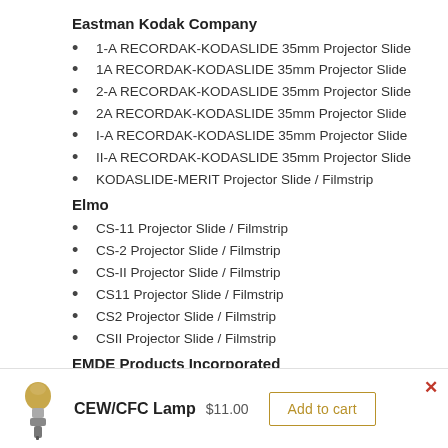Eastman Kodak Company
1-A RECORDAK-KODASLIDE 35mm Projector Slide
1A RECORDAK-KODASLIDE 35mm Projector Slide
2-A RECORDAK-KODASLIDE 35mm Projector Slide
2A RECORDAK-KODASLIDE 35mm Projector Slide
I-A RECORDAK-KODASLIDE 35mm Projector Slide
II-A RECORDAK-KODASLIDE 35mm Projector Slide
KODASLIDE-MERIT Projector Slide / Filmstrip
Elmo
CS-11 Projector Slide / Filmstrip
CS-2 Projector Slide / Filmstrip
CS-II Projector Slide / Filmstrip
CS11 Projector Slide / Filmstrip
CS2 Projector Slide / Filmstrip
CSII Projector Slide / Filmstrip
EMDE Products Incorporated
CEW/CFC Lamp $11.00 Add to cart